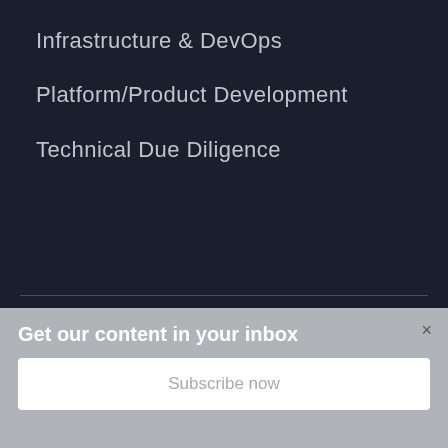Infrastructure & DevOps
Platform/Product Development
Technical Due Diligence
1211 31st Street NW
Washington, DC 20007
Get our content in your inbox
Subscribe now